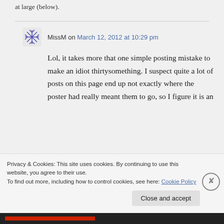at large (below).
MissM on March 12, 2012 at 10:29 pm
Lol, it takes more that one simple posting mistake to make an idiot thirtysomething. I suspect quite a lot of posts on this page end up not exactly where the poster had really meant them to go, so I figure it is an
Privacy & Cookies: This site uses cookies. By continuing to use this website, you agree to their use.
To find out more, including how to control cookies, see here: Cookie Policy
Close and accept